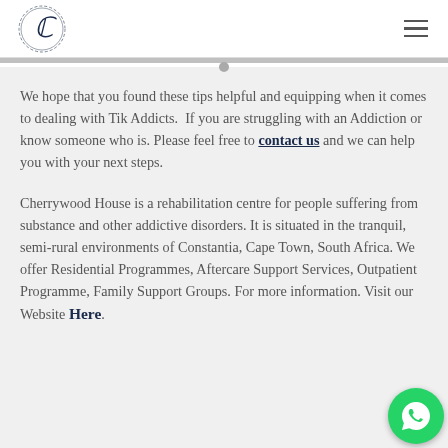Cherrywood House logo and navigation
We hope that you found these tips helpful and equipping when it comes to dealing with Tik Addicts.  If you are struggling with an Addiction or know someone who is. Please feel free to contact us and we can help you with your next steps.
Cherrywood House is a rehabilitation centre for people suffering from substance and other addictive disorders. It is situated in the tranquil, semi-rural environments of Constantia, Cape Town, South Africa. We offer Residential Programmes, Aftercare Support Services, Outpatient Programme, Family Support Groups. For more information. Visit our Website Here.